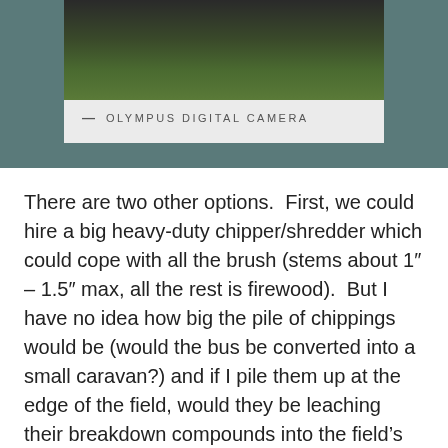[Figure (photo): Photograph of a grassy field with dark vegetation and trees in the background, shown cropped at the top of a light grey card.]
— OLYMPUS DIGITAL CAMERA
There are two other options.  First, we could hire a big heavy-duty chipper/shredder which could cope with all the brush (stems about 1″ – 1.5″ max, all the rest is firewood).  But I have no idea how big the pile of chippings would be (would the bus be converted into a small caravan?) and if I pile them up at the edge of the field, would they be leaching their breakdown compounds into the field's soil and effectively adding